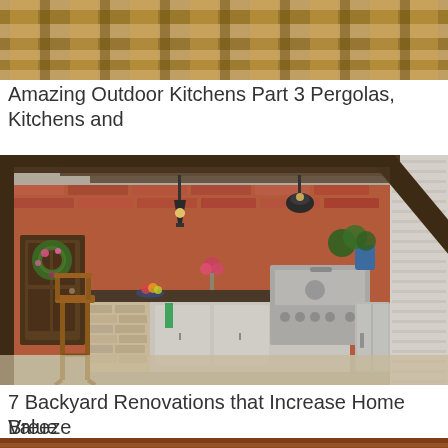[Figure (photo): Top portion of an outdoor pergola/patio ceiling with wooden beams and lattice pattern, cropped at top of page]
Amazing Outdoor Kitchens Part 3 Pergolas, Kitchens and
[Figure (photo): Outdoor kitchen under a pergola with dark wooden beams, brick walls, pendant lights, L-shaped counter with granite/concrete top, wooden bar stool, stainless steel grill, mini refrigerator, flowers, and wreath on door]
7 Backyard Renovations that Increase Home Value
Breeze
[Figure (photo): Bottom partial image of another outdoor scene, only top sliver visible at bottom of page]